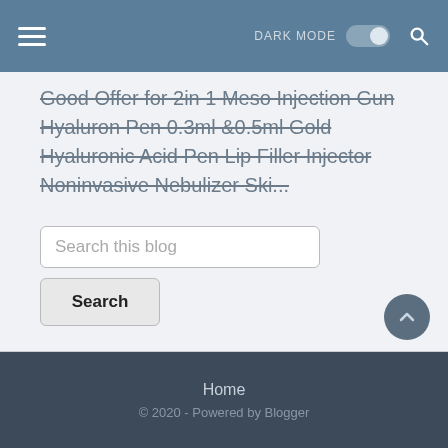[Figure (screenshot): Navigation bar with hamburger menu, DARK MODE toggle switch, and search icon on a steel blue background]
Good Offer for 2in 1 Meso Injection Gun Hyaluron Pen 0.3ml &0.5ml Gold Hyaluronic Acid Pen Lip Filler Injector Noninvasive Nebulizer Ski...
Search this blog
Search
Powered by Blogger
Home
© 2020 - Powered by Blogger